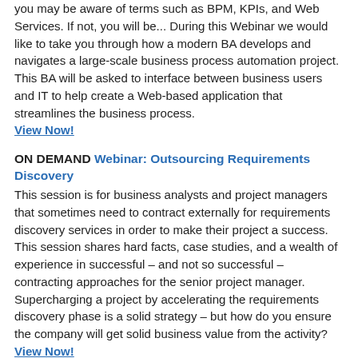you may be aware of terms such as BPM, KPIs, and Web Services. If not, you will be... During this Webinar we would like to take you through how a modern BA develops and navigates a large-scale business process automation project. This BA will be asked to interface between business users and IT to help create a Web-based application that streamlines the business process.
View Now!
ON DEMAND Webinar: Outsourcing Requirements Discovery
This session is for business analysts and project managers that sometimes need to contract externally for requirements discovery services in order to make their project a success. This session shares hard facts, case studies, and a wealth of experience in successful – and not so successful – contracting approaches for the senior project manager. Supercharging a project by accelerating the requirements discovery phase is a solid strategy – but how do you ensure the company will get solid business value from the activity?
View Now!
ON DEMAND Webinar: Learn the 11 Habits for Highly Successful Business Process Management Programs
Driving long-term business benefit and success with business process management (BPM) often requires companies to develop new ways of looking at familiar challenges.
Join IBM for this educational webcast and learn 11 practical approaches to